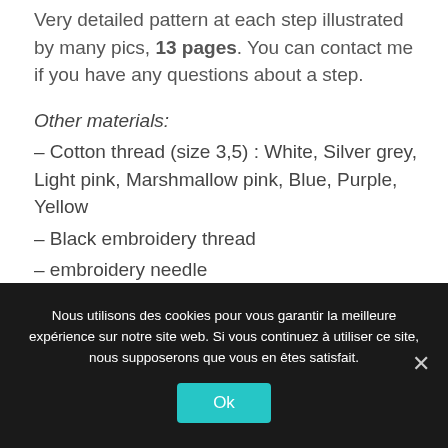Very detailed pattern at each step illustrated by many pics, 13 pages. You can contact me if you have any questions about a step.
Other materials:
– Cotton thread (size 3,5) : White, Silver grey, Light pink, Marshmallow pink, Blue, Purple, Yellow
– Black embroidery thread
– embroidery needle
– wool needle
Nous utilisons des cookies pour vous garantir la meilleure expérience sur notre site web. Si vous continuez à utiliser ce site, nous supposerons que vous en êtes satisfait.